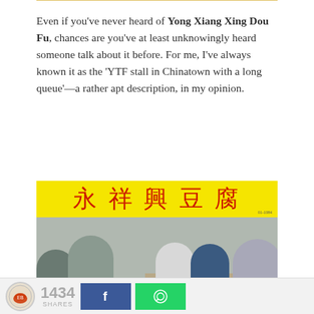Even if you've never heard of Yong Xiang Xing Dou Fu, chances are you've at least unknowingly heard someone talk about it before. For me, I've always known it as the 'YTF stall in Chinatown with a long queue'—a rather apt description, in my opinion.
[Figure (photo): Photo of Yong Xiang Xing Dou Fu food stall in Chinatown with a large yellow sign displaying Chinese characters in red. Workers are visible behind the counter preparing food, and customers stand in queue in the foreground.]
1434 SHARES  [Facebook share button] [WhatsApp share button]